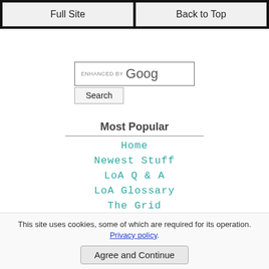Full Site | Back to Top
[Figure (screenshot): Google search bar with 'ENHANCED BY Goog' text and a Search button below]
Most Popular
Home
Newest Stuff
LoA Q & A
LoA Glossary
The Grid
LoA in General
What is LoA?
This site uses cookies, some of which are required for its operation. Privacy policy.
Agree and Continue